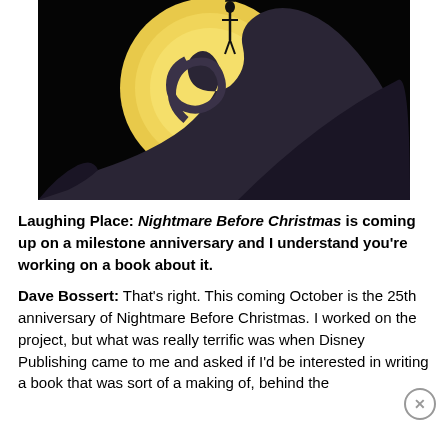[Figure (photo): A still from The Nightmare Before Christmas showing Jack Skellington standing atop a spiral hill against a large yellow moon on a dark background.]
Laughing Place: Nightmare Before Christmas is coming up on a milestone anniversary and I understand you're working on a book about it.
Dave Bossert: That's right. This coming October is the 25th anniversary of Nightmare Before Christmas. I worked on the project, but what was really terrific was when Disney Publishing came to me and asked if I'd be interested in writing a book that was sort of a making of, behind the